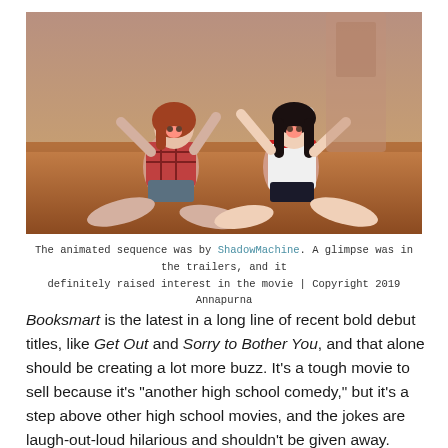[Figure (photo): Animated scene showing two doll-like female figures sitting on a wooden floor in dramatic poses, both with arms raised and mouths open in expressions of surprise or excitement. One wears a plaid shirt and shorts, the other wears a nurse costume. Warm reddish-brown tones throughout the scene.]
The animated sequence was by ShadowMachine. A glimpse was in the trailers, and it definitely raised interest in the movie | Copyright 2019 Annapurna
Booksmart is the latest in a long line of recent bold debut titles, like Get Out and Sorry to Bother You, and that alone should be creating a lot more buzz. It's a tough movie to sell because it's "another high school comedy," but it's a step above other high school movies, and the jokes are laugh-out-loud hilarious and shouldn't be given away. What's left is just trust in Wilde and